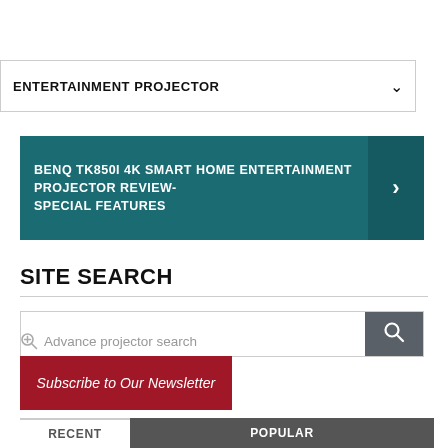ENTERTAINMENT PROJECTOR
BenQ TK850i 4K SMART HOME ENTERTAINMENT PROJECTOR REVIEW- SPECIAL FEATURES
SITE SEARCH
Advance projector search
Subscribe to Our Newsletter
RECENT
POPULAR